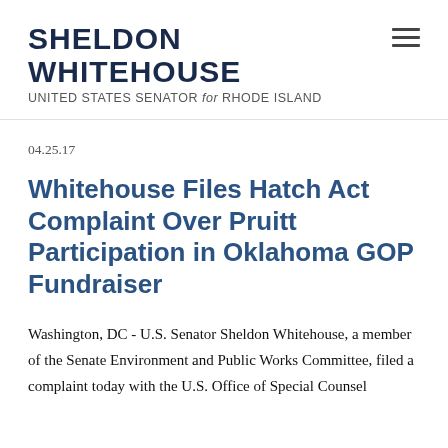SHELDON WHITEHOUSE UNITED STATES SENATOR for RHODE ISLAND
04.25.17
Whitehouse Files Hatch Act Complaint Over Pruitt Participation in Oklahoma GOP Fundraiser
Washington, DC - U.S. Senator Sheldon Whitehouse, a member of the Senate Environment and Public Works Committee, filed a complaint today with the U.S. Office of Special Counsel